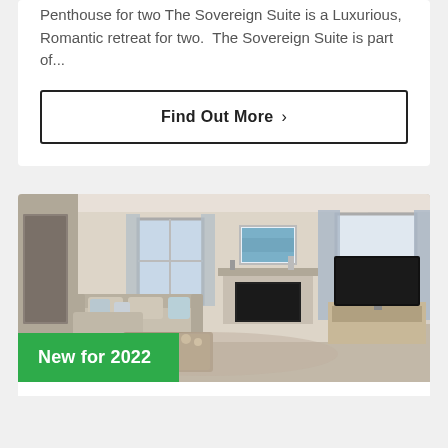Penthouse for two The Sovereign Suite is a Luxurious, Romantic retreat for two.  The Sovereign Suite is part of...
Find Out More >
[Figure (photo): Interior photo of a modern living room with sofas, fireplace, TV unit, and large windows with curtains. Green badge overlay reads 'New for 2022'.]
New for 2022